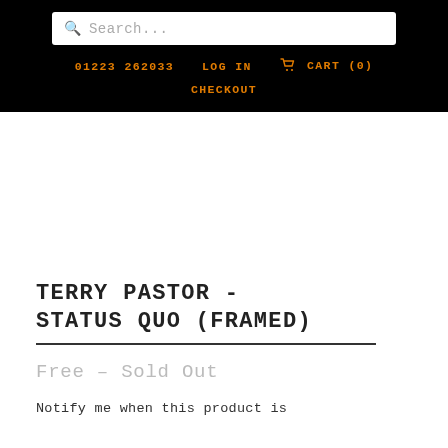Search...
01223 262033   LOG IN   CART (0)   CHECKOUT
[Figure (other): Product image area (blank/white placeholder for product photo)]
TERRY PASTOR - STATUS QUO (FRAMED)
Free – Sold Out
Notify me when this product is